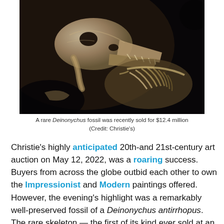[Figure (photo): A dark, dramatic photo of a Deinonychus dinosaur fossil skeleton, showing the skull and ribcage against a black background, in sepia/monochrome tones.]
A rare Deinonychus fossil was recently sold for $12.4 million (Credit: Christie's)
Christie's highly anticipated 20th-and 21st-century art auction on May 12, 2022, was a roaring success. Buyers from across the globe outbid each other to own the Impressionist and Modern paintings offered. However, the evening's highlight was a remarkably well-preserved fossil of a Deinonychus antirrhopus. The rare skeleton — the first of its kind ever sold at an auction — fetched an impressive $12.4 million (with fees) from an anonymous fan. It was more than double